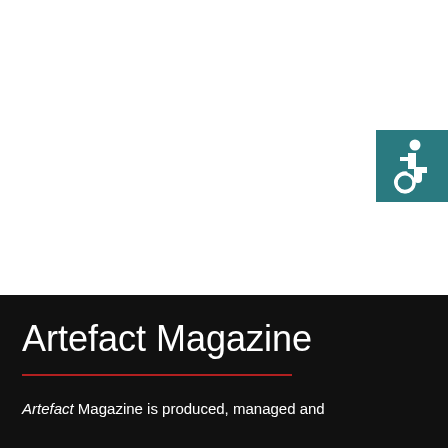[Figure (logo): Wheelchair accessibility symbol icon on teal/dark cyan background]
Artefact Magazine
Artefact Magazine is produced, managed and